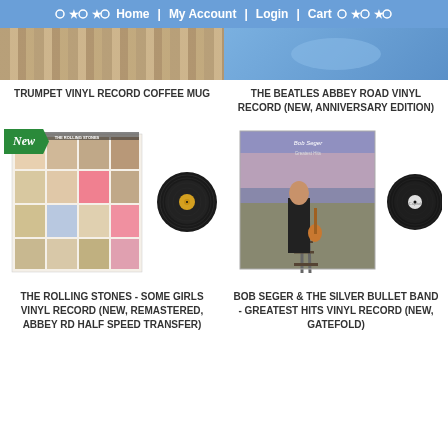Home | My Account | Login | Cart
[Figure (photo): Partial view of wooden surface product image on left, blue background on right with cart/account nav]
TRUMPET VINYL RECORD COFFEE MUG
THE BEATLES ABBEY ROAD VINYL RECORD (NEW, ANNIVERSARY EDITION)
[Figure (photo): Rolling Stones Some Girls album cover with vinyl record - New badge overlay]
[Figure (photo): Bob Seger Greatest Hits album cover with vinyl record]
THE ROLLING STONES - SOME GIRLS VINYL RECORD (NEW, REMASTERED, ABBEY RD HALF SPEED TRANSFER)
BOB SEGER & THE SILVER BULLET BAND - GREATEST HITS VINYL RECORD (NEW, GATEFOLD)